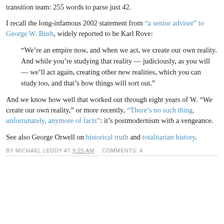transition team: 255 words to parse just 42.
I recall the long-infamous 2002 statement from "a senior adviser" to George W. Bush, widely reported to be Karl Rove:
“We’re an empire now, and when we act, we create our own reality. And while you’re studying that reality — judiciously, as you will — we’ll act again, creating other new realities, which you can study too, and that’s how things will sort out.”
And we know how well that worked out through eight years of W. “We create our own reality,” or more recently, “There’s no such thing, unfortunately, anymore of facts”: it’s postmodernism with a vengeance.
See also George Orwell on historical truth and totalitarian history.
BY MICHAEL LEDDY AT 9:25 AM   COMMENTS: 4